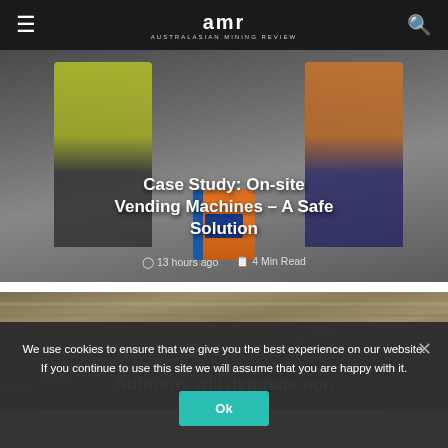AMR - Australasian Mining Review
[Figure (photo): Article card with photo of two workers in safety vests next to a vending machine. Title overlay: Case Study: On-site Vending Machines – A Safe Solution. 13 hours ago · 4 Min Read]
Case Study: On-site Vending Machines – A Safe Solution
13 hours ago    4 Min Read
[Figure (photo): Article card with aerial photo of an open-cut mine. Title overlay: Authority will detonate non]
Authority will detonate non
We use cookies to ensure that we give you the best experience on our website. If you continue to use this site we will assume that you are happy with it.